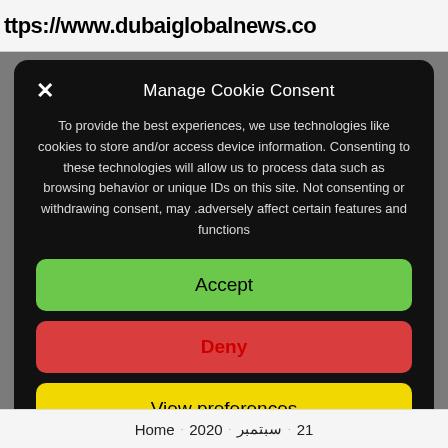https://www.dubaiglobalnews.co
Manage Cookie Consent
To provide the best experiences, we use technologies like cookies to store and/or access device information. Consenting to these technologies will allow us to process data such as browsing behavior or unique IDs on this site. Not consenting or withdrawing consent, may adversely affect certain features and functions.
Accept
Deny
View preferences
Home 2020 سبتمبر 21